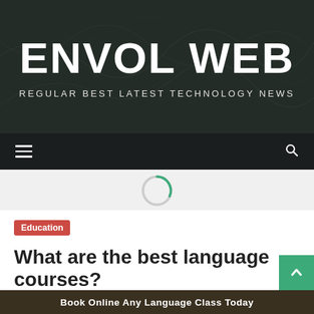[Figure (screenshot): Website header banner with dark overlay background showing abstract green thread-like patterns. Contains site logo 'ENVOL WEB' in bold white text and tagline 'REGULAR BEST LATEST TECHNOLOGY NEWS' below.]
ENVOL WEB
REGULAR BEST LATEST TECHNOLOGY NEWS
[Figure (screenshot): Dark navigation bar with hamburger menu icon on left and search icon on right. Center shows a circular loading spinner (partial green arc on grey circle).]
Education
What are the best language courses?
1 year ago  Envol Web
Book Online Any Language Class Today